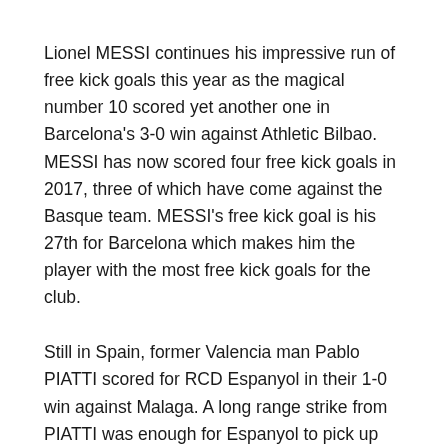Lionel MESSI continues his impressive run of free kick goals this year as the magical number 10 scored yet another one in Barcelona's 3-0 win against Athletic Bilbao. MESSI has now scored four free kick goals in 2017, three of which have come against the Basque team. MESSI's free kick goal is his 27th for Barcelona which makes him the player with the most free kick goals for the club.
Still in Spain, former Valencia man Pablo PIATTI scored for RCD Espanyol in their 1-0 win against Malaga. A long range strike from PIATTI was enough for Espanyol to pick up the win.
In Portugal, former Gimnasia and San Lorenzo player Alan RUIZ (also former Argentina U20) scored a fantastic goal for Sporting in their 2-1 loss to FC Porto. RUIZ controlled the ball with his chest and hit the volley past Iker CASILLAS for the